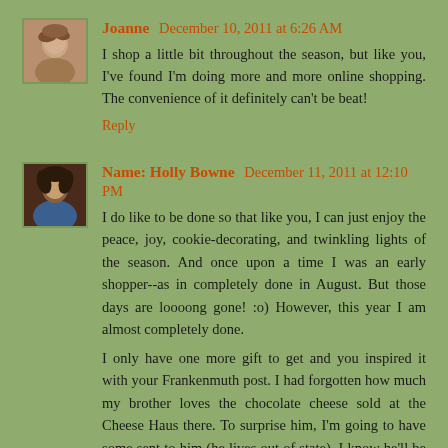[Figure (photo): Avatar photo of Joanne, a woman with short hair]
Joanne December 10, 2011 at 6:26 AM
I shop a little bit throughout the season, but like you, I've found I'm doing more and more online shopping. The convenience of it definitely can't be beat!
Reply
[Figure (photo): Avatar photo of Holly Bowne, a woman with dark hair]
Name: Holly Bowne December 11, 2011 at 12:10 PM
I do like to be done so that like you, I can just enjoy the peace, joy, cookie-decorating, and twinkling lights of the season. And once upon a time I was an early shopper--as in completely done in August. But those days are loooong gone! :o) However, this year I am almost completely done.
I only have one more gift to get and you inspired it with your Frankenmuth post. I had forgotten how much my brother loves the chocolate cheese sold at the Cheese Haus there. To surprise him, I'm going to have some sent to him (he lives out of state). I know he'll be totally geeked to get it because I'm sure he's